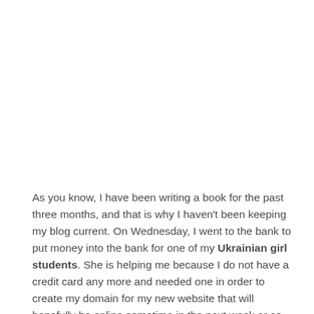As you know, I have been writing a book for the past three months, and that is why I haven't been keeping my blog current. On Wednesday, I went to the bank to put money into the bank for one of my Ukrainian girl students. She is helping me because I do not have a credit card any more and needed one in order to create my domain for my new website that will hopefully be online sometime in the next week or so.